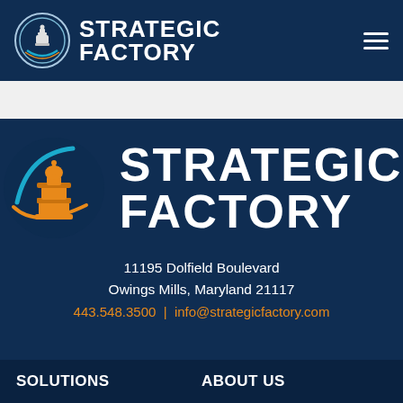[Figure (logo): Strategic Factory logo in header bar with chess piece icon and text STRATEGIC FACTORY in white on dark navy background, with hamburger menu icon on right]
[Figure (logo): Large Strategic Factory logo centered on dark navy background: circular icon with orange chess king piece and teal/orange circular swoosh, with large white bold text STRATEGIC FACTORY]
11195 Dolfield Boulevard
Owings Mills, Maryland 21117
443.548.3500 | info@strategicfactory.com
SOLUTIONS
ABOUT US